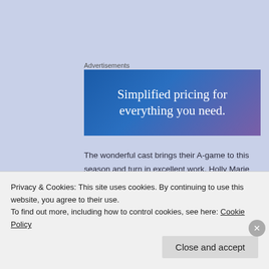Advertisements
[Figure (illustration): Advertisement banner with gradient blue-to-purple background and white serif text reading 'Simplified pricing for everything you need.']
The wonderful cast brings their A-game to this season and turn in excellent work. Holly Marie Combs excels at playing Piper as the resourceful and responsible oldest sister, trying to keep everything under control and attempting to stay strong in dire circumstances.
Privacy & Cookies: This site uses cookies. By continuing to use this website, you agree to their use.
To find out more, including how to control cookies, see here: Cookie Policy
Close and accept